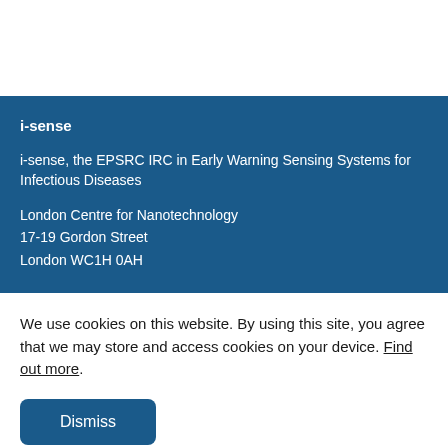i-sense
i-sense, the EPSRC IRC in Early Warning Sensing Systems for Infectious Diseases
London Centre for Nanotechnology
17-19 Gordon Street
London WC1H 0AH
We use cookies on this website. By using this site, you agree that we may store and access cookies on your device. Find out more.
Dismiss